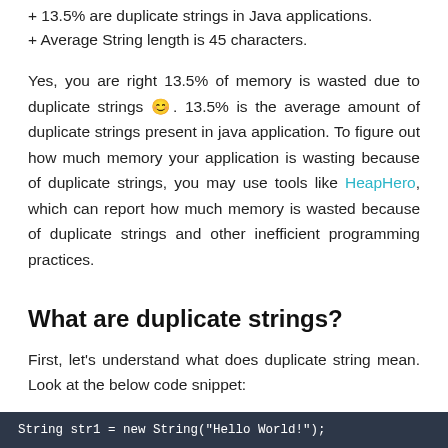+ 13.5% are duplicate strings in Java applications.
+ Average String length is 45 characters.
Yes, you are right 13.5% of memory is wasted due to duplicate strings 😊. 13.5% is the average amount of duplicate strings present in java application. To figure out how much memory your application is wasting because of duplicate strings, you may use tools like HeapHero, which can report how much memory is wasted because of duplicate strings and other inefficient programming practices.
What are duplicate strings?
First, let's understand what does duplicate string mean. Look at the below code snippet:
[Figure (screenshot): Dark code snippet bar at bottom showing partial Java code with String variable assignment]